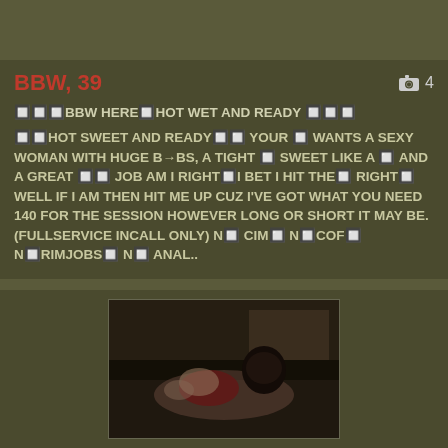BBW, 39
🔲🔲🔲BBW HERE🔲HOT WET AND READY 🔲🔲🔲
🔲🔲HOT SWEET AND READY🔲🔲 YOUR 🔲 WANTS A SEXY WOMAN WITH HUGE B→BS, A TIGHT 🔲 SWEET LIKE A 🔲 AND A GREAT 🔲🔲 JOB AM I RIGHT🔲I BET I HIT THE🔲 RIGHT🔲 WELL IF I AM THEN HIT ME UP CUZ I'VE GOT WHAT YOU NEED 140 FOR THE SESSION HOWEVER LONG OR SHORT IT MAY BE. (FULLSERVICE INCALL ONLY) N🔲 CIM🔲 N🔲COF🔲 N🔲RIMJOBS🔲 N🔲 ANAL..
[Figure (photo): A woman in red lingerie posing on a bed in a dimly lit room]